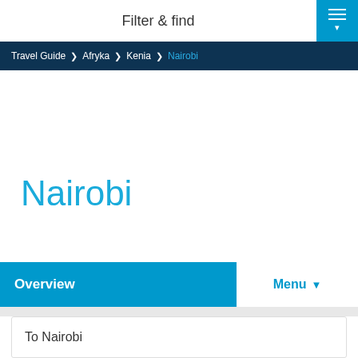Filter & find
Travel Guide > Afryka > Kenia > Nairobi
Nairobi
Overview
Menu
To Nairobi